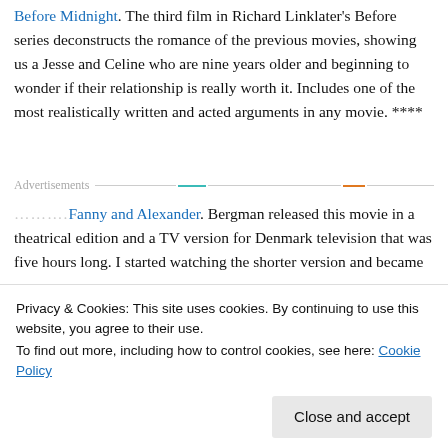Before Midnight. The third film in Richard Linklater's Before series deconstructs the romance of the previous movies, showing us a Jesse and Celine who are nine years older and beginning to wonder if their relationship is really worth it. Includes one of the most realistically written and acted arguments in any movie. ****
Advertisements
..........Fanny and Alexander. Bergman released this movie in a theatrical edition and a TV version for Denmark television that was five hours long. I started watching the shorter version and became
Privacy & Cookies: This site uses cookies. By continuing to use this website, you agree to their use.
To find out more, including how to control cookies, see here: Cookie Policy